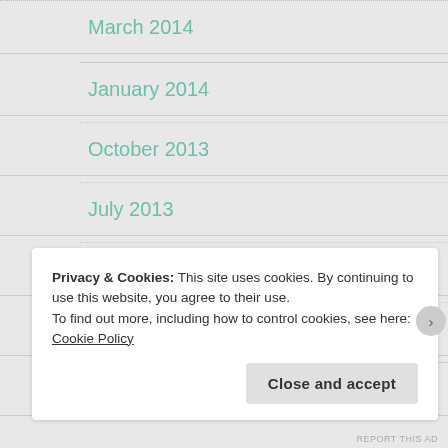March 2014
January 2014
October 2013
July 2013
June 2013
April 2013
March 2013
Privacy & Cookies: This site uses cookies. By continuing to use this website, you agree to their use.
To find out more, including how to control cookies, see here: Cookie Policy
Close and accept